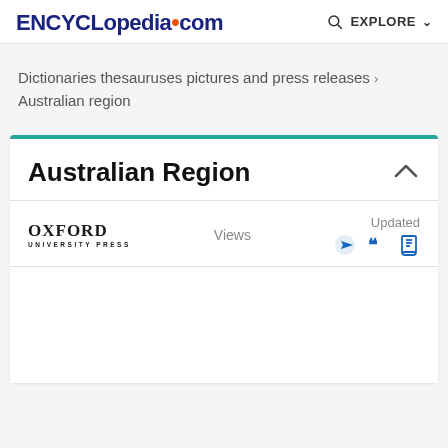ENCYCLopedia.com  EXPLORE
Dictionaries thesauruses pictures and press releases › Australian region
Australian Region
[Figure (logo): Oxford University Press logo with text OXFORD UNIVERSITY PRESS]
Views
Updated